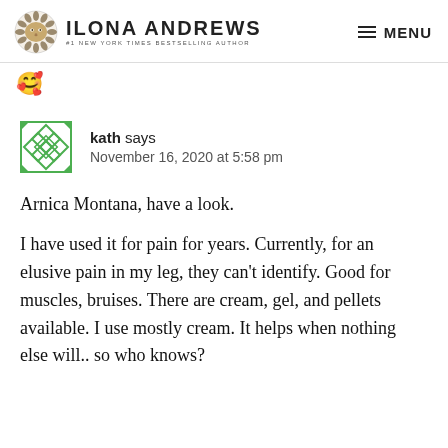Ilona Andrews — #1 New York Times Bestselling Author — MENU
🥰
kath says
November 16, 2020 at 5:58 pm
Arnica Montana, have a look.
I have used it for pain for years. Currently, for an elusive pain in my leg, they can't identify. Good for muscles, bruises. There are cream, gel, and pellets available. I use mostly cream. It helps when nothing else will.. so who knows?